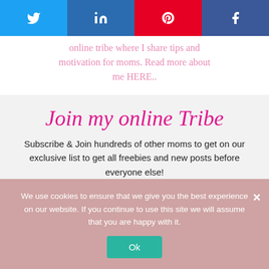[Figure (other): Social share buttons row: Twitter (blue), LinkedIn (dark blue), Pinterest (red), Facebook (blue)]
online tribe where I share tips and motivation for moms. Read more about me HERE..
Join my online Tribe
Subscribe & Join hundreds of other moms to get on our exclusive list to get all freebies and new posts before everyone else!
We use cookies to ensure that we give you the best experience on our website. If you continue to use this site we will assume that you are happy with it.
Ok